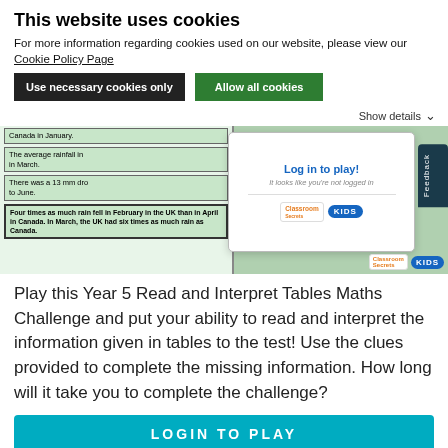This website uses cookies
For more information regarding cookies used on our website, please view our Cookie Policy Page
Use necessary cookies only | Allow all cookies
Show details
[Figure (screenshot): Screenshot of a Year 5 Read and Interpret Tables Maths Challenge game showing a table with rainfall data and a login modal overlay. Text visible includes 'Log in to play!', 'It looks like you’re not logged in', Classroom Secrets Kids logos, and a partially visible table with sentences about rainfall in Canada and the UK.]
Play this Year 5 Read and Interpret Tables Maths Challenge and put your ability to read and interpret the information given in tables to the test! Use the clues provided to complete the missing information. How long will it take you to complete the challenge?
LOGIN TO PLAY